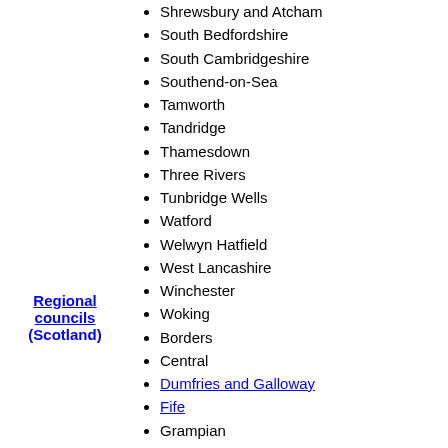Shrewsbury and Atcham
South Bedfordshire
South Cambridgeshire
Southend-on-Sea
Tamworth
Tandridge
Thamesdown
Three Rivers
Tunbridge Wells
Watford
Welwyn Hatfield
West Lancashire
Winchester
Woking
Regional councils (Scotland)
Borders
Central
Dumfries and Galloway
Fife
Grampian
Highland
Lothian
Orkney
Shetland
Strathclyde
Tayside